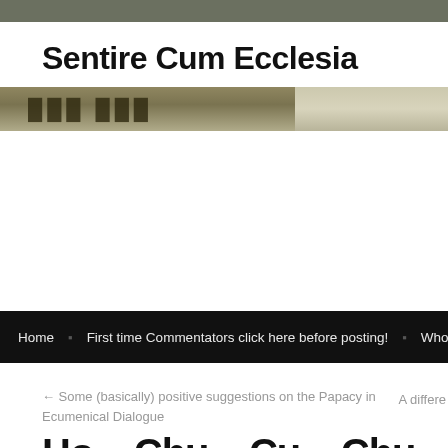Sentire Cum Ecclesia
[Figure (illustration): Website header banner image with tan/khaki colored left portion showing partial text letters, and a lighter beige/cream right portion, on black background.]
Home   First time Commentators click here before posting!   Who is
← Some (basically) positive suggestions on the Papacy in Ecumenical Dialogue    A differe
Ho... Ch... Cu... Ch...